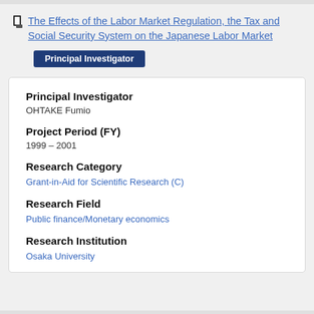The Effects of the Labor Market Regulation, the Tax and Social Security System on the Japanese Labor Market
Principal Investigator
Principal Investigator
OHTAKE Fumio
Project Period (FY)
1999 – 2001
Research Category
Grant-in-Aid for Scientific Research (C)
Research Field
Public finance/Monetary economics
Research Institution
Osaka University